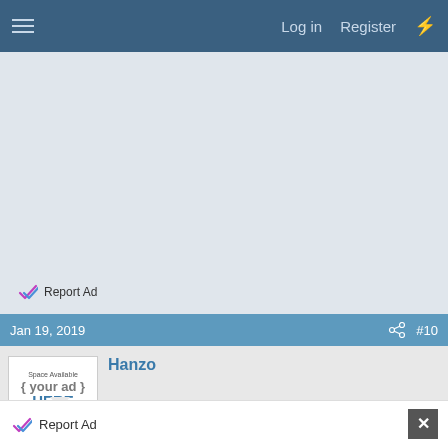Log in  Register
[Figure (other): Advertisement placeholder area with light blue-gray background]
Report Ad
Jan 19, 2019  #10
[Figure (other): Forum avatar placeholder: 'Space Available your ad HERE Contact for Info']
Hanzo
Report Ad